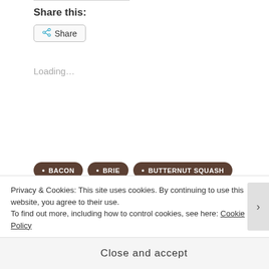Share this:
Share
Loading...
BACON
BRIE
BUTTERNUT SQUASH
CHIC
COMFORT FOOD
COOKING
CRANBERRY
CRANBERRY SAUCE
DECOR
DINNER
ENTERTAINING
FARMHOUSE
Privacy & Cookies: This site uses cookies. By continuing to use this website, you agree to their use. To find out more, including how to control cookies, see here: Cookie Policy
Close and accept